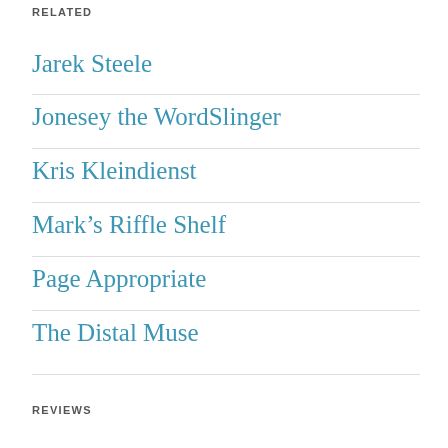RELATED
Jarek Steele
Jonesey the WordSlinger
Kris Kleindienst
Mark's Riffle Shelf
Page Appropriate
The Distal Muse
REVIEWS